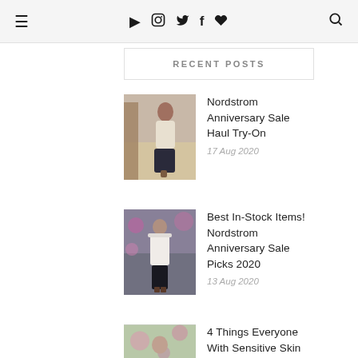≡  ▶  📷  🐦  f  ♥  🔍
RECENT POSTS
[Figure (photo): Woman in white top and dark cropped trousers standing indoors near a rope-wrapped column]
Nordstrom Anniversary Sale Haul Try-On
17 Aug 2020
[Figure (photo): Woman in white outfit with dark pants and boots standing in a floral shop interior]
Best In-Stock Items! Nordstrom Anniversary Sale Picks 2020
13 Aug 2020
[Figure (photo): Person partially visible near floral wall background]
4 Things Everyone With Sensitive Skin Should